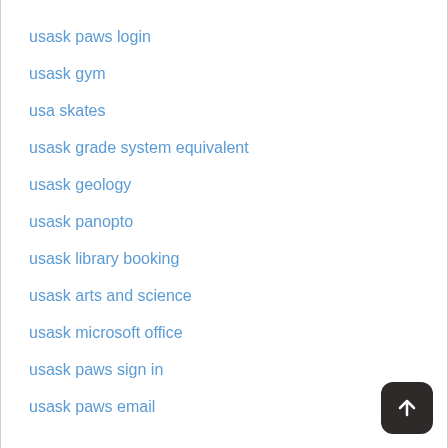usask paws login
usask gym
usa skates
usask grade system equivalent
usask geology
usask panopto
usask library booking
usask arts and science
usask microsoft office
usask paws sign in
usask paws email